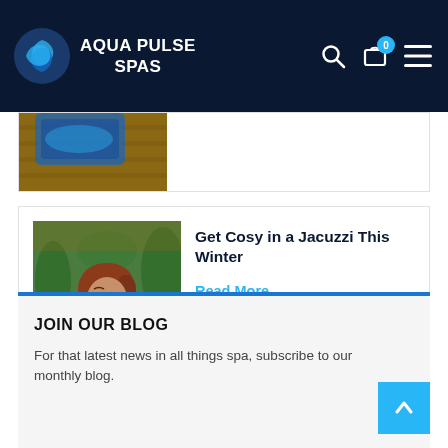AQUA PULSE SPAS
[Figure (photo): Partial view of a hot tub on a wooden deck]
[Figure (photo): Woman relaxing in a jacuzzi/hot tub with steam, green plants in background]
Get Cosy in a Jacuzzi This Winter
Read More
JOIN OUR BLOG
For that latest news in all things spa, subscribe to our monthly blog.